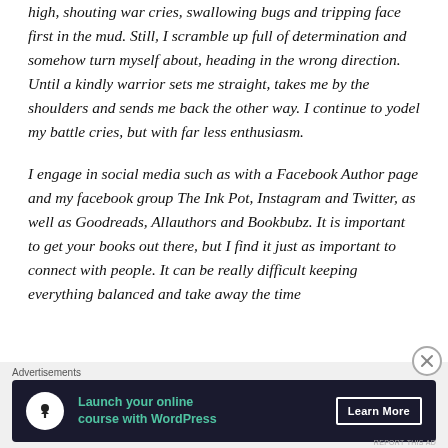high, shouting war cries, swallowing bugs and tripping face first in the mud. Still, I scramble up full of determination and somehow turn myself about, heading in the wrong direction. Until a kindly warrior sets me straight, takes me by the shoulders and sends me back the other way. I continue to yodel my battle cries, but with far less enthusiasm.
I engage in social media such as with a Facebook Author page and my facebook group The Ink Pot, Instagram and Twitter, as well as Goodreads, Allauthors and Bookbubz. It is important to get your books out there, but I find it just as important to connect with people. It can be really difficult keeping everything balanced and take away the time
Advertisements
[Figure (other): Dark advertisement banner for WordPress online course. Shows a white circle icon with person/upload symbol on dark navy background, teal text reading 'Launch your online course with WordPress', and a 'Learn More' button with white border.]